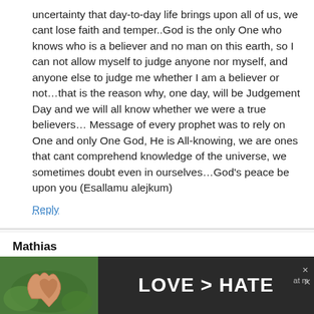uncertainty that day-to-day life brings upon all of us, we cant lose faith and temper..God is the only One who knows who is a believer and no man on this earth, so I can not allow myself to judge anyone nor myself, and anyone else to judge me whether I am a believer or not…that is the reason why, one day, will be Judgement Day and we will all know whether we were a true believers… Message of every prophet was to rely on One and only One God, He is All-knowing, we are ones that cant comprehend knowledge of the universe, we sometimes doubt even in ourselves…God's peace be upon you (Esallamu alejkum)
Reply
Mathias
March 6, 2016
Although I was not raised in a Christian family, I
[Figure (photo): Advertisement banner at the bottom showing hands forming a heart shape against a green outdoor background, with text 'LOVE > HATE' in white bold letters on a dark background.]